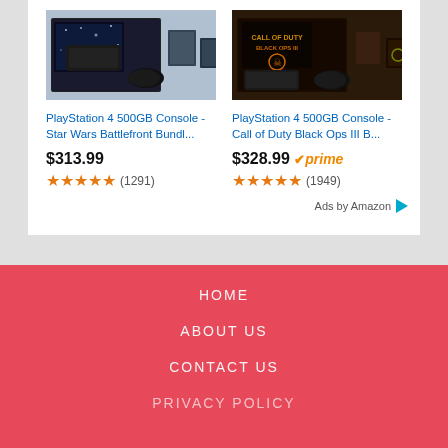[Figure (screenshot): Amazon product ad showing two PlayStation 4 500GB Console bundles side by side. Left: Star Wars Battlefront Bundle at $313.99 with 4.5 stars (1291 reviews). Right: Call of Duty Black Ops III Bundle at $328.99 with Prime badge, 4.5 stars (1949 reviews). Footer shows 'Ads by Amazon' with arrow icon.]
HOME
ABOUT US
CONTACT US
PRIVACY POLICY